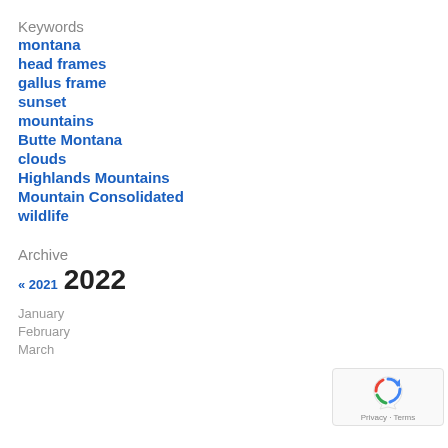Keywords
montana
head frames
gallus frame
sunset
mountains
Butte Montana
clouds
Highlands Mountains
Mountain Consolidated
wildlife
Archive
« 2021 2022
January
February
March